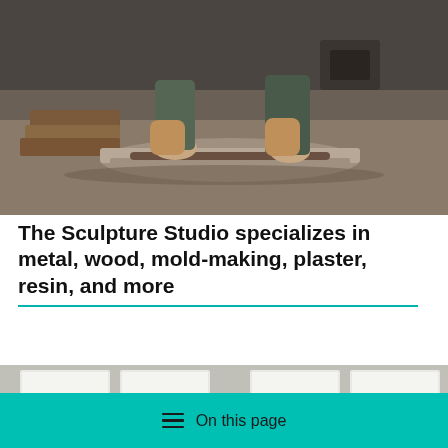[Figure (photo): A person working with clay or plaster on a studio workbench, hands pressing and shaping flat slabs of material. Craft/sculpture studio environment.]
The Sculpture Studio specializes in metal, wood, mold-making, plaster, resin, and more
[Figure (photo): Interior view of a studio or workspace with fluorescent ceiling lights reflected.]
On this page